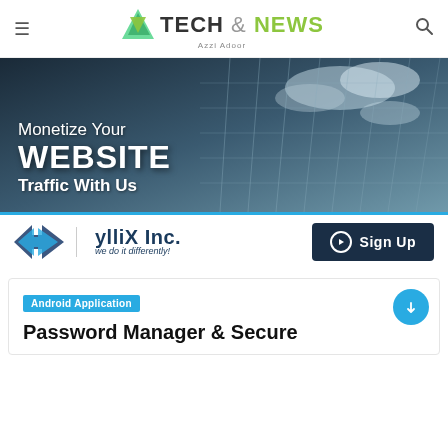≡  TECH & NEWS  Azzi Adoor  🔍
[Figure (infographic): Banner advertisement: dark building/glass architecture background with text 'Monetize Your WEBSITE Traffic With Us' and yllix Inc. logo with Sign Up button]
Android Application
Password Manager & Secure